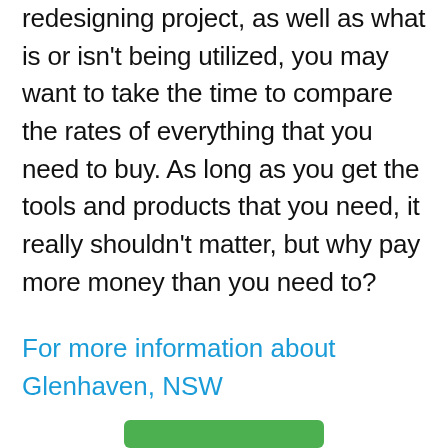redesigning project, as well as what is or isn't being utilized, you may want to take the time to compare the rates of everything that you need to buy. As long as you get the tools and products that you need, it really shouldn't matter, but why pay more money than you need to?
For more information about Glenhaven, NSW